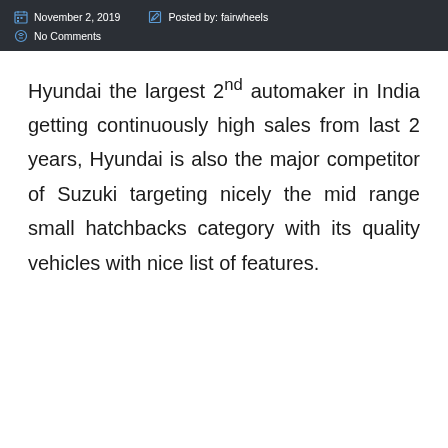November 2, 2019   Posted by: fairwheels   No Comments
Hyundai the largest 2nd automaker in India getting continuously high sales from last 2 years, Hyundai is also the major competitor of Suzuki targeting nicely the mid range small hatchbacks category with its quality vehicles with nice list of features.